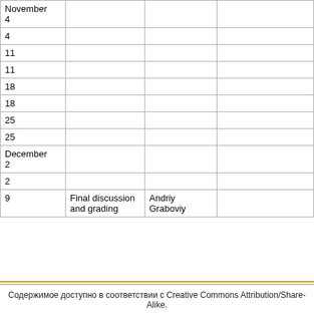| November
4 |  |  |  |
| 4 |  |  |  |
| 11 |  |  |  |
| 11 |  |  |  |
| 18 |  |  |  |
| 18 |  |  |  |
| 25 |  |  |  |
| 25 |  |  |  |
| December
2 |  |  |  |
| 2 |  |  |  |
| 9 | Final discussion and grading | Andriy Graboviy |  |
Содержимое доступно в соответствии с Creative Commons Attribution/Share-Alike.